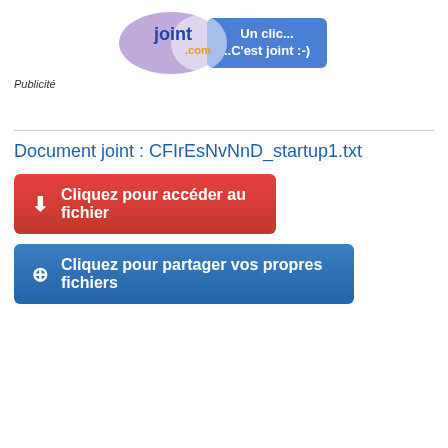[Figure (logo): joint.com banner logo with text 'Un clic... ..C'est joint :-)' on blue background with purple oval]
Publicité
Document joint : CFIrEsNvNnD_startup1.txt
Cliquez pour accéder au fichier
Cliquez pour partager vos propres fichiers